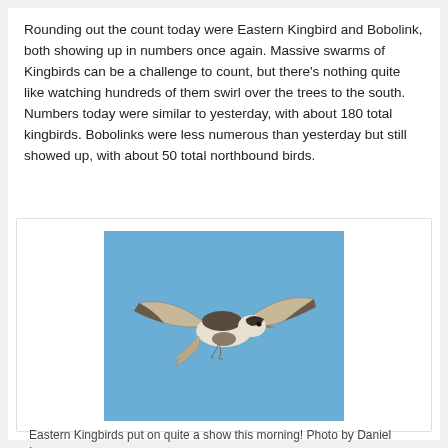Rounding out the count today were Eastern Kingbird and Bobolink, both showing up in numbers once again. Massive swarms of Kingbirds can be a challenge to count, but there's nothing quite like watching hundreds of them swirl over the trees to the south. Numbers today were similar to yesterday, with about 180 total kingbirds. Bobolinks were less numerous than yesterday but still showed up, with about 50 total northbound birds.
[Figure (photo): A bird (Eastern Kingbird) in flight against a clear blue sky, photographed from below showing its white underparts and dark wings spread wide.]
Eastern Kingbirds put on quite a show this morning! Photo by Daniel Irons